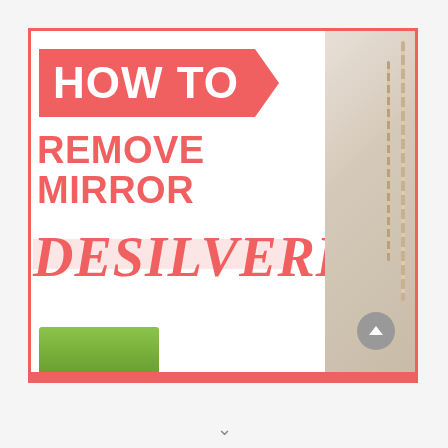[Figure (infographic): A blog post thumbnail/infographic on a white background. It shows a framed graphic card with a red 'HOW TO' arrow banner at the top left, followed by 'REMOVE MIRROR' in large red sans-serif text, and 'DESILVERING' in large red serif/hand-drawn style text with a pink highlight behind the word. The card has red border stripes at top and bottom. On the right side of the card, a decorative wooden bead garland hangs against a neutral background. A small cactus plant is partially visible at the bottom. There is a gray circular scroll-up button on the right. At the very bottom of the page is a small downward chevron arrow.]